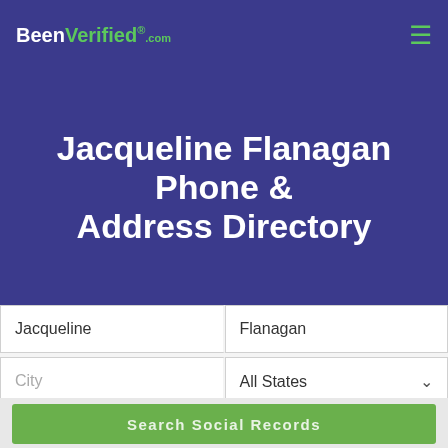BeenVerified.com
Jacqueline Flanagan Phone & Address Directory
Jacqueline
Flanagan
City
All States
SEARCH
Search Social Records